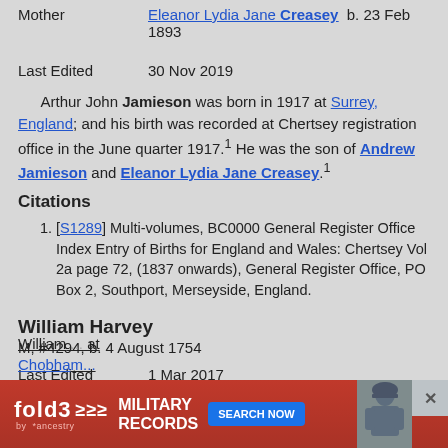| Field | Value |
| --- | --- |
| Mother | Eleanor Lydia Jane Creasey  b. 23 Feb 1893 |
| Last Edited | 30 Nov 2019 |
Arthur John Jamieson was born in 1917 at Surrey, England; and his birth was recorded at Chertsey registration office in the June quarter 1917.1 He was the son of Andrew Jamieson and Eleanor Lydia Jane Creasey.1
Citations
[S1289] Multi-volumes, BC0000 General Register Office Index Entry of Births for England and Wales: Chertsey Vol 2a page 72, (1837 onwards), General Register Office, PO Box 2, Southport, Merseyside, England.
William Harvey
M, #4294, b. 4 August 1754
| Field | Value |
| --- | --- |
| Last Edited | 1 Mar 2017 |
William ... at Chobha...
[Figure (infographic): fold3 by Ancestry advertisement banner for Military Records with Search Now button and a photo of a soldier]